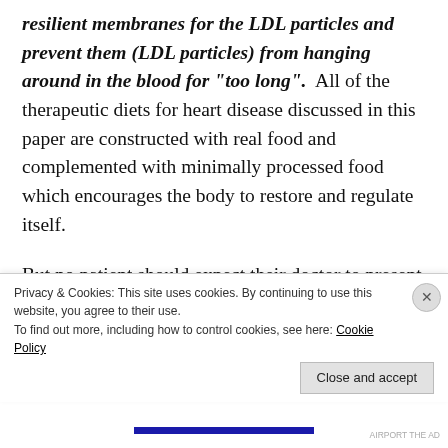resilient membranes for the LDL particles and prevent them (LDL particles) from hanging around in the blood for "too long".  All of the therapeutic diets for heart disease discussed in this paper are constructed with real food and complemented with minimally processed food which encourages the body to restore and regulate itself.
But no patient should expect their doctor to present one of the various therapeutic diets that have been reportedly used by thousands of heart disease patients in the clinical setting and on their own accord to
Privacy & Cookies: This site uses cookies. By continuing to use this website, you agree to their use.
To find out more, including how to control cookies, see here: Cookie Policy
Close and accept